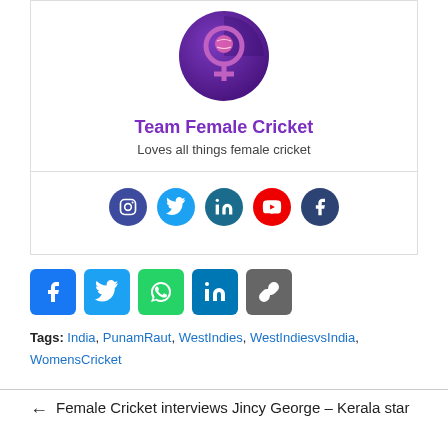[Figure (logo): Team Female Cricket logo — purple circle with female symbol and cricket ball]
Team Female Cricket
Loves all things female cricket
[Figure (infographic): Social media circle icons: Instagram, Twitter, LinkedIn, YouTube, Facebook]
[Figure (infographic): Share buttons: Facebook, Twitter, WhatsApp, LinkedIn, copy link]
Tags: India, PunamRaut, WestIndies, WestIndiesvsIndia, WomensCricket
Female Cricket interviews Jincy George – Kerala star